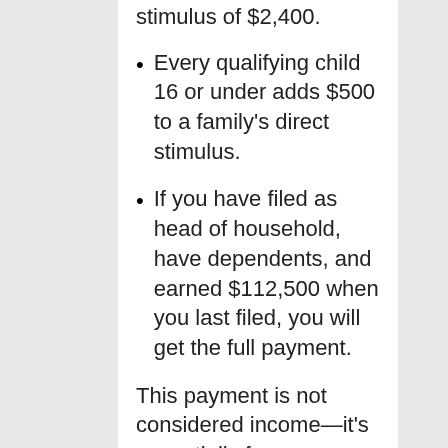stimulus of $2,400.
Every qualifying child 16 or under adds $500 to a family's direct stimulus.
If you have filed as head of household, have dependents, and earned $112,500 when you last filed, you will get the full payment.
This payment is not considered income—it's essentially free money from the government. Therefore, it will not be taxed. It also is not a loan, so if you are eligible, you will not be